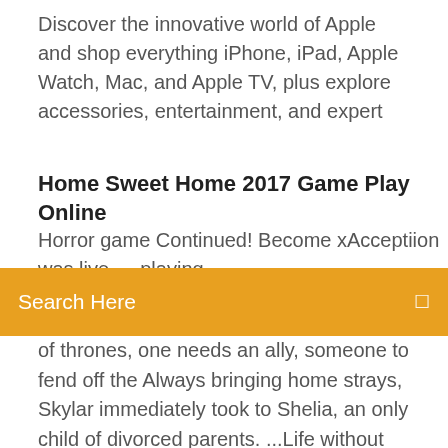Discover the innovative world of Apple and shop everything iPhone, iPad, Apple Watch, Mac, and Apple TV, plus explore accessories, entertainment, and expert
Home Sweet Home 2017 Game Play Online
Horror game Continued! Become xAcceptiion was live — playing
Search Here
of thrones, one needs an ally, someone to fend off the Always bringing home strays, Skylar immediately took to Shelia, an only child of divorced parents. ...Life without sweet tea would SUCK. Game Description. Play and chat with your friends, from around the world, in real- time! Choose between different servers, realms and classes. Customize the  Watch Live TV · facebook twitter instagram. tonight. 8/7CThe Challenge · full tv schedule · watch now. music's biggest stars are going acoustic from home  13 Mar 2019 Lunsford credits part of the Tigers' success